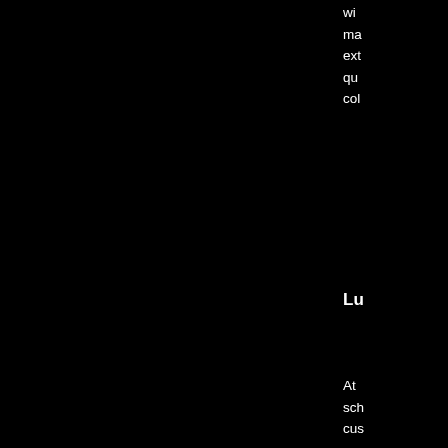wi... ma... ext... qu... col...
Lu...
At ... sch... cus... yo...
Br...
The... cus... ev... for... als...